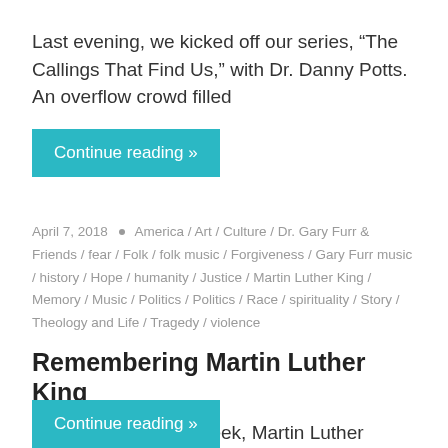Last evening, we kicked off our series, “The Callings That Find Us,” with Dr. Danny Potts.  An overflow crowd filled
Continue reading »
April 7, 2018 • America / Art / Culture / Dr. Gary Furr & Friends / fear / Folk / folk music / Forgiveness / Gary Furr music / history / Hope / humanity / Justice / Martin Luther King / Memory / Music / Politics / Politics / Race / spirituality / Story / Theology and Life / Tragedy / violence
Remembering Martin Luther King
Fifty years ago this week, Martin Luther King’s life was frozen in time for the whole world. His words keep
Continue reading »